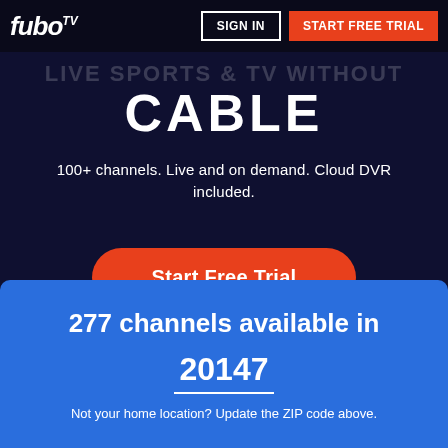fuboTV — SIGN IN | START FREE TRIAL
LIVE SPORTS & TV WITHOUT CABLE
100+ channels. Live and on demand. Cloud DVR included.
Start Free Trial
No hidden fees. Cancel anytime.
277 channels available in
20147
Not your home location? Update the ZIP code above.